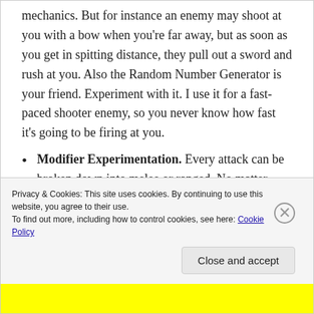mechanics. But for instance an enemy may shoot at you with a bow when you're far away, but as soon as you get in spitting distance, they pull out a sword and rush at you. Also the Random Number Generator is your friend. Experiment with it. I use it for a fast-paced shooter enemy, so you never know how fast it's going to be firing at you.
Modifier Experimentation. Every attack can be broken down into melee or ranged. No matter what the mechanic is, it's an attack from
Privacy & Cookies: This site uses cookies. By continuing to use this website, you agree to their use.
To find out more, including how to control cookies, see here: Cookie Policy
Close and accept